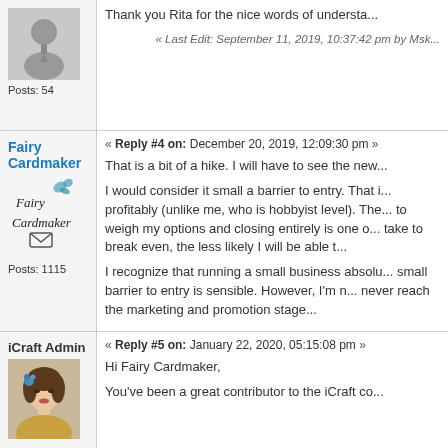[Figure (photo): Generic user avatar (grey silhouette)]
Posts: 54
« Last Edit: September 11, 2019, 10:37:42 pm by Msk...
Fairy Cardmaker
« Reply #4 on: December 20, 2019, 12:09:30 pm »
[Figure (logo): Fairy Cardmaker logo with butterfly and envelope icon]
Posts: 1115
That is a bit of a hike. I will have to see the new...
I would consider it small a barrier to entry. That ... profitably (unlike me, who is hobbyist level). The... to weigh my options and closing entirely is one o... take to break even, the less likely I will be able t...
I recognize that running a small business absolu... small barrier to entry is sensible. However, I'm n... never reach the marketing and promotion stage...
iCraft Admin
« Reply #5 on: January 22, 2020, 05:15:08 pm »
[Figure (photo): iCraft Admin avatar - woman with blue flower hair accessory]
Hi Fairy Cardmaker,
You've been a great contributor to the iCraft co...